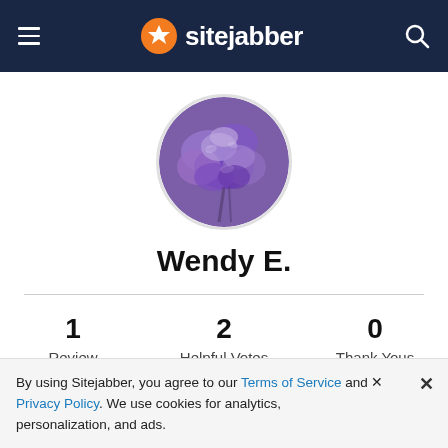sitejabber
[Figure (photo): Circular profile photo showing purple/violet flowers (irises), used as user avatar for Wendy E.]
Wendy E.
1 Review   2 Helpful Votes   0 Thank Yous
By using Sitejabber, you agree to our Terms of Service and Privacy Policy. We use cookies for analytics, personalization, and ads.